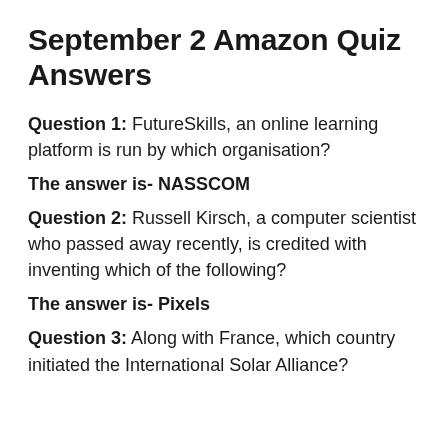September 2 Amazon Quiz Answers
Question 1: FutureSkills, an online learning platform is run by which organisation?
The answer is- NASSCOM
Question 2: Russell Kirsch, a computer scientist who passed away recently, is credited with inventing which of the following?
The answer is- Pixels
Question 3: Along with France, which country initiated the International Solar Alliance?